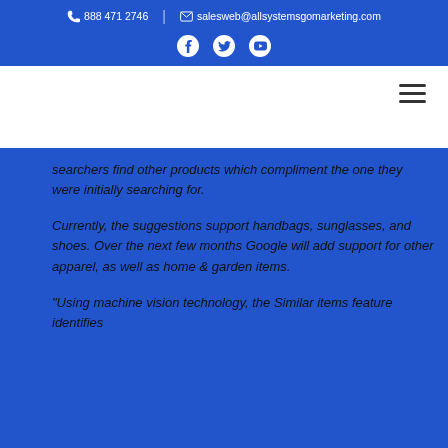☎ 888 471 2746 | ✉ salesweb@allsystemsgomarketing.com
searchers find other products which compliment the one they were initially searching for.
Currently, the suggestions support handbags, sunglasses, and shoes. Over the next few months Google will add support for other apparel, as well as home & garden items.
"Using machine vision technology, the Similar items feature identifies